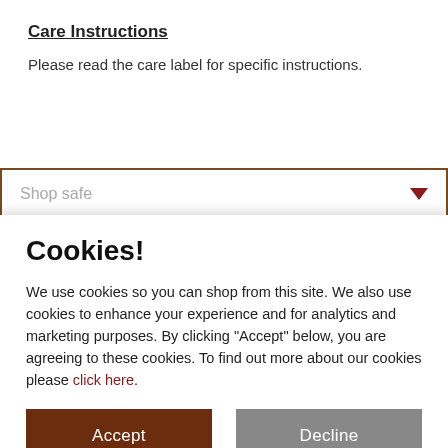Care Instructions
Please read the care label for specific instructions.
Shop safe
Cookies!
We use cookies so you can shop from this site. We also use cookies to enhance your experience and for analytics and marketing purposes. By clicking "Accept" below, you are agreeing to these cookies. To find out more about our cookies please click here.
Accept
Decline